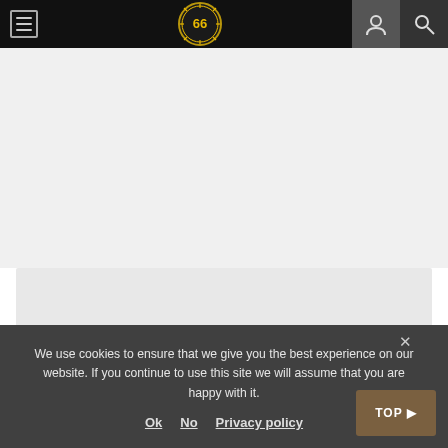[Figure (screenshot): Website navigation bar with hamburger menu icon on left, circular logo with text '66' in center, account icon and search icon on right, all on black background]
[Figure (screenshot): Light gray main content area of a website, partially visible below navigation bar, with a lighter gray card/panel area near the bottom]
We use cookies to ensure that we give you the best experience on our website. If you continue to use this site we will assume that you are happy with it.
Ok   No   Privacy policy